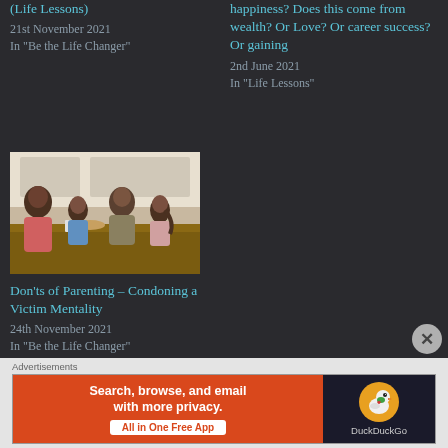(Life Lessons)
21st November 2021
In "Be the Life Changer"
happiness? Does this come from wealth? Or Love? Or career success? Or gaining
2nd June 2021
In "Life Lessons"
[Figure (photo): Family of four gathered around a kitchen table, preparing food together.]
Don'ts of Parenting – Condoning a Victim Mentality
24th November 2021
In "Be the Life Changer"
Advertisements
[Figure (infographic): DuckDuckGo advertisement banner: Search, browse, and email with more privacy. All in One Free App. DuckDuckGo logo on dark background.]